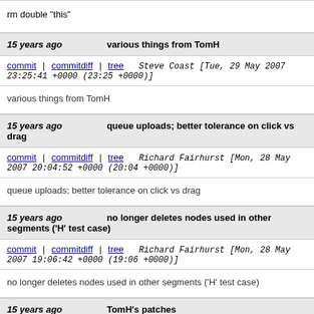rm double "this"
15 years ago   various things from TomH
commit | commitdiff | tree   Steve Coast [Tue, 29 May 2007 23:25:41 +0000 (23:25 +0000)]
various things from TomH
15 years ago   queue uploads; better tolerance on click vs drag
commit | commitdiff | tree   Richard Fairhurst [Mon, 28 May 2007 20:04:52 +0000 (20:04 +0000)]
queue uploads; better tolerance on click vs drag
15 years ago   no longer deletes nodes used in other segments ('H' test case)
commit | commitdiff | tree   Richard Fairhurst [Mon, 28 May 2007 19:06:42 +0000 (19:06 +0000)]
no longer deletes nodes used in other segments ('H' test case)
15 years ago   TomH's patches